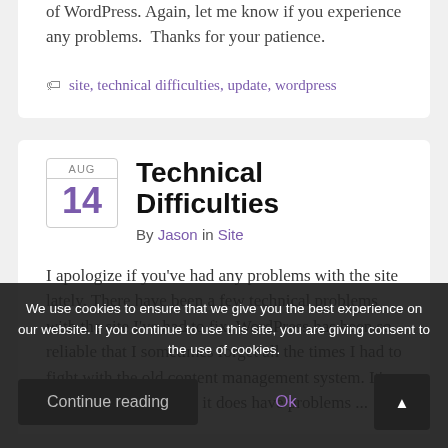of WordPress. Again, let me know if you experience any problems. Thanks for your patience.
site, technical difficulties, update, wordpress
Technical Difficulties
By Jason in Site
I apologize if you've had any problems with the site lately. There have been a few technical problems with the site I've had to fix. WordPress has been so reliable that I sometimes forget all the times I had to fight with the old content management system. It's almost shocking when it does have problems ...
We use cookies to ensure that we give you the best experience on our website. If you continue to use this site, you are giving consent to the use of cookies.